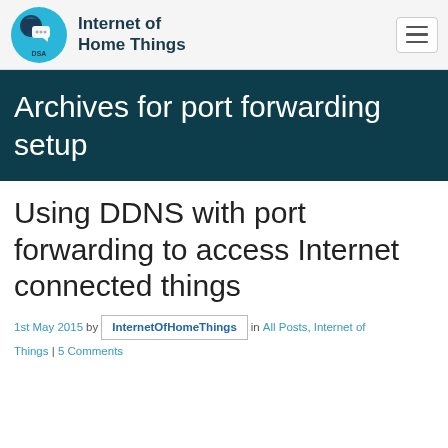Internet of Home Things
Archives for port forwarding setup
Using DDNS with port forwarding to access Internet connected things
1st May 2015 by InternetOfHomeThings in All Posts, Internet of Things | 5 Comments